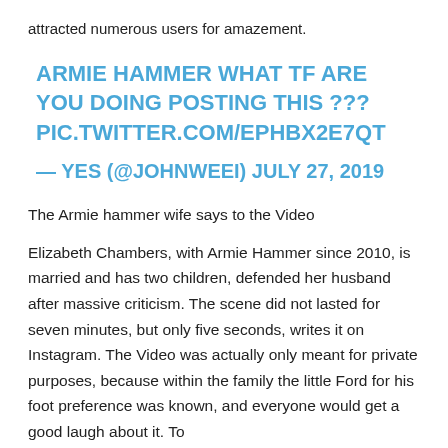attracted numerous users for amazement.
ARMIE HAMMER WHAT TF ARE YOU DOING POSTING THIS ??? PIC.TWITTER.COM/EPHBX2E7QT
— YES (@JOHNWEEI) JULY 27, 2019
The Armie hammer wife says to the Video
Elizabeth Chambers, with Armie Hammer since 2010, is married and has two children, defended her husband after massive criticism. The scene did not lasted for seven minutes, but only five seconds, writes it on Instagram. The Video was actually only meant for private purposes, because within the family the little Ford for his foot preference was known, and everyone would get a good laugh about it. To